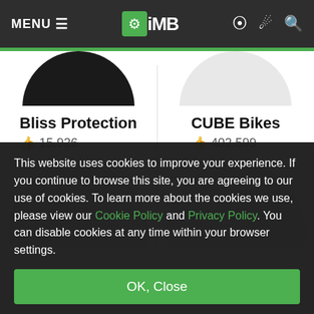MENU ≡  iMB
Bliss Protection  👍 15,926
CUBE Bikes  👍 402,599
This website uses cookies to improve your experience. If you continue to browse this site, you are agreeing to our use of cookies. To learn more about the cookies we use, please view our Cookie Policy and Privacy Policy. You can disable cookies at any time within your browser settings.
OK, Close